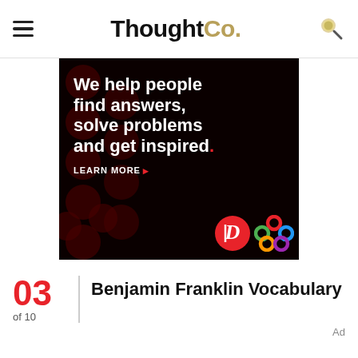ThoughtCo.
[Figure (infographic): Advertisement banner with black background, dark red dot pattern, white bold text reading 'We help people find answers, solve problems and get inspired.' with a red period, 'LEARN MORE' in white with red arrow, and two logos at bottom right: a red circle with white 'D' letter, and a colorful interlocked loops logo.]
03 Benjamin Franklin Vocabulary
of 10
Ad